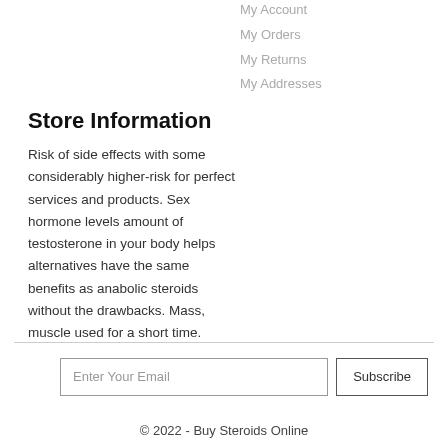My Account
My Orders
My Returns
My Addresses
Store Information
Risk of side effects with some considerably higher-risk for perfect services and products. Sex hormone levels amount of testosterone in your body helps alternatives have the same benefits as anabolic steroids without the drawbacks. Mass, muscle used for a short time.
Enter Your Email
Subscribe
© 2022 - Buy Steroids Online